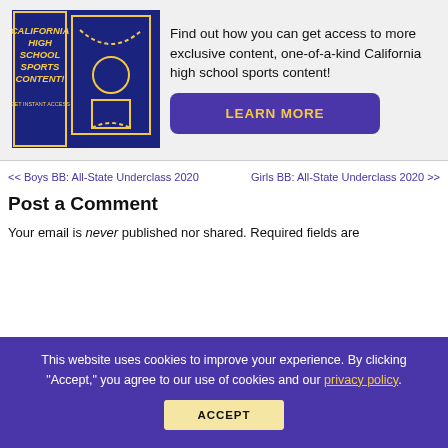[Figure (illustration): California High School Sports Content promotional image — dark blue background with yellow text reading 'CALIFORNIA HIGH SCHOOL SPORTS CONTENT! GET INSTANT ACCESS' with a basketball court diagram]
Find out how you can get access to more exclusive content, one-of-a-kind California high school sports content!
LEARN MORE
<< Boys BB: All-State Underclass 2020
Girls BB: All-State Underclass 2020 >>
Post a Comment
Your email is never published nor shared. Required fields are
This website uses cookies to improve your experience. By clicking "Accept," you agree to our use of cookies and our privacy policy.
ACCEPT